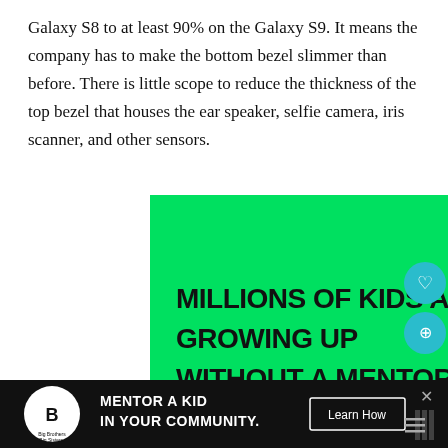Galaxy S8 to at least 90% on the Galaxy S9. It means the company has to make the bottom bezel slimmer than before. There is little scope to reduce the thickness of the top bezel that houses the ear speaker, selfie camera, iris scanner, and other sensors.
[Figure (infographic): Big Brothers Big Sisters advertisement. Green background with photo of adult mentor and child. Text: MILLIONS OF KIDS ARE GROWING UP WITHOUT A MENTOR. BECOME A BIG TODAY. Learn How button. Big Brothers Big Sisters of America logo.]
[Figure (infographic): Bottom banner ad: Big Brothers Big Sisters. MENTOR A KID IN YOUR COMMUNITY. Learn How button. Dark background.]